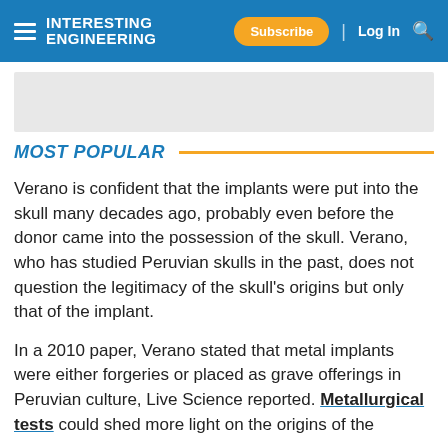INTERESTING ENGINEERING | Subscribe | Log In
[Figure (other): Gray advertisement placeholder banner]
MOST POPULAR
Verano is confident that the implants were put into the skull many decades ago, probably even before the donor came into the possession of the skull. Verano, who has studied Peruvian skulls in the past, does not question the legitimacy of the skull's origins but only that of the implant.
In a 2010 paper, Verano stated that metal implants were either forgeries or placed as grave offerings in Peruvian culture, Live Science reported. Metallurgical tests could shed more light on the origins of the